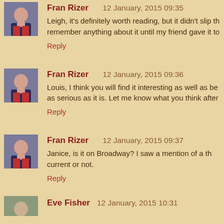Fran Rizer   12 January, 2015 09:35
Leigh, it's definitely worth reading, but it didn't slip th... remember anything about it until my friend gave it to...
Reply
Fran Rizer   12 January, 2015 09:36
Louis, I think you will find it interesting as well as be... as serious as it is. Let me know what you think after...
Reply
Fran Rizer   12 January, 2015 09:37
Janice, is it on Broadway? I saw a mention of a th... current or not.
Reply
Eve Fisher  12 January, 2015 10:31